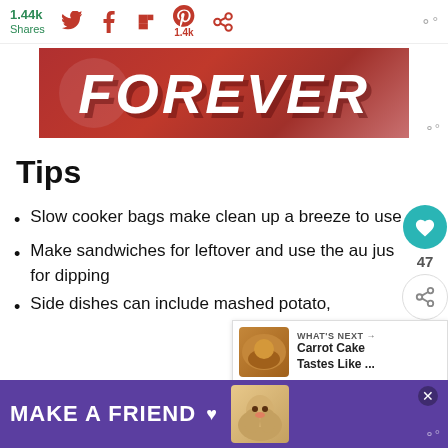1.44k Shares
[Figure (screenshot): Social sharing bar with Twitter, Facebook, Flipboard, Pinterest (1.4k), and other share icons]
[Figure (illustration): Red banner with italic bold white text reading FOREVER]
Tips
Slow cooker bags make clean up a breeze to use
Make sandwiches for leftover and use the au jus for dipping
Side dishes can include mashed potato,
[Figure (infographic): What's Next panel — Carrot Cake Tastes Like ... with thumbnail image]
[Figure (infographic): Purple advertisement banner: MAKE A FRIEND with dog image and heart icon, close button]